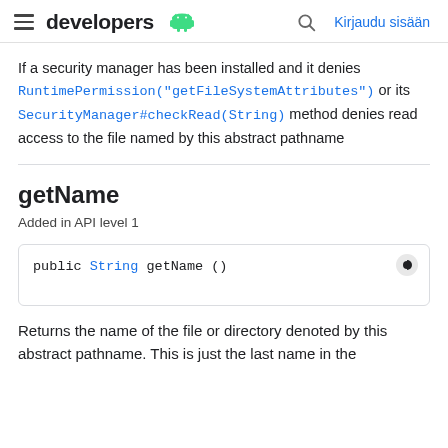developers | Kirjaudu sisään
If a security manager has been installed and it denies RuntimePermission("getFileSystemAttributes") or its SecurityManager#checkRead(String) method denies read access to the file named by this abstract pathname
getName
Added in API level 1
public String getName ()
Returns the name of the file or directory denoted by this abstract pathname. This is just the last name in the